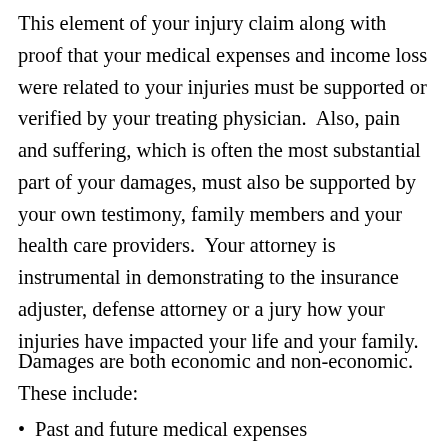This element of your injury claim along with proof that your medical expenses and income loss were related to your injuries must be supported or verified by your treating physician.  Also, pain and suffering, which is often the most substantial part of your damages, must also be supported by your own testimony, family members and your health care providers.  Your attorney is instrumental in demonstrating to the insurance adjuster, defense attorney or a jury how your injuries have impacted your life and your family.
Damages are both economic and non-economic. These include:
Past and future medical expenses